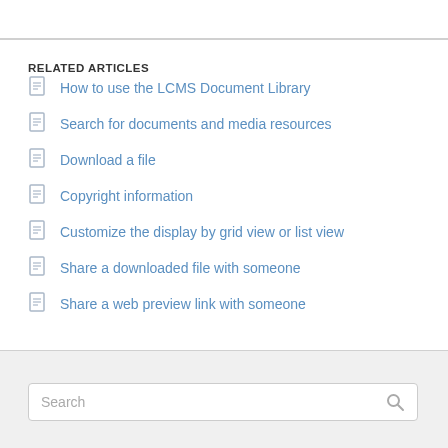RELATED ARTICLES
How to use the LCMS Document Library
Search for documents and media resources
Download a file
Copyright information
Customize the display by grid view or list view
Share a downloaded file with someone
Share a web preview link with someone